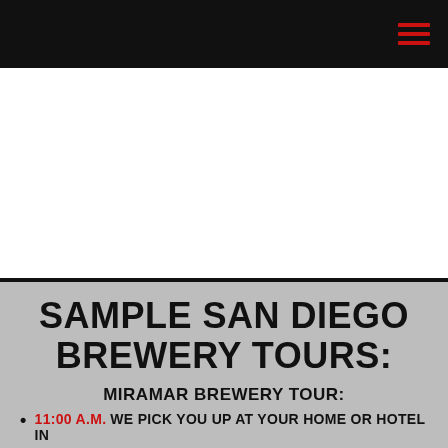[hamburger menu icon]
SAMPLE SAN DIEGO BREWERY TOURS:
MIRAMAR BREWERY TOUR:
11:00 A.M. WE PICK YOU UP AT YOUR HOME OR HOTEL IN